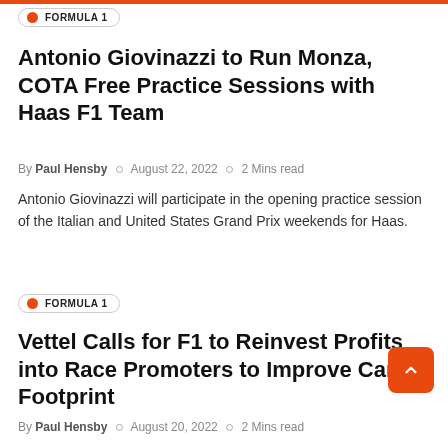FORMULA 1
Antonio Giovinazzi to Run Monza, COTA Free Practice Sessions with Haas F1 Team
By Paul Hensby  August 22, 2022  2 Mins read
Antonio Giovinazzi will participate in the opening practice session of the Italian and United States Grand Prix weekends for Haas.
FORMULA 1
Vettel Calls for F1 to Reinvest Profits into Race Promoters to Improve Car Footprint
By Paul Hensby  August 20, 2022  2 Mins read